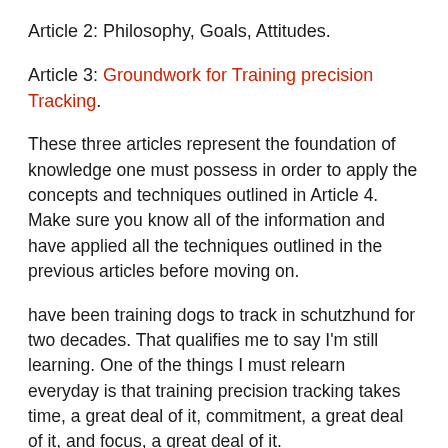Article 2: Philosophy, Goals, Attitudes.
Article 3: Groundwork for Training precision Tracking.
These three articles represent the foundation of knowledge one must possess in order to apply the concepts and techniques outlined in Article 4. Make sure you know all of the information and have applied all the techniques outlined in the previous articles before moving on.
have been training dogs to track in schutzhund for two decades. That qualifies me to say I'm still learning. One of the things I must relearn everyday is that training precision tracking takes time, a great deal of it, commitment, a great deal of it, and focus, a great deal of it.
There are no short cuts. I'm pretty sure of that after 20 years. So, if you're reading this article for short cuts and quick tips